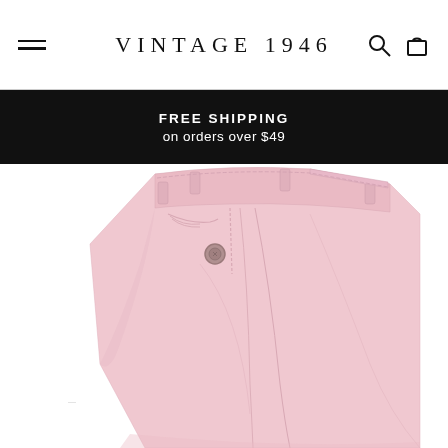VINTAGE 1946
FREE SHIPPING on orders over $49
[Figure (photo): Pink pleated chino shorts/pants from Vintage 1946, shown from front-top angle against white background, displaying waistband, belt loops, button, and front pleats]